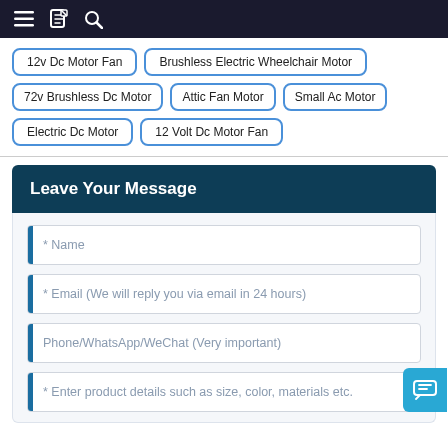Navigation bar with menu, document, and search icons
12v Dc Motor Fan
Brushless Electric Wheelchair Motor
72v Brushless Dc Motor
Attic Fan Motor
Small Ac Motor
Electric Dc Motor
12 Volt Dc Motor Fan
Leave Your Message
* Name
* Email (We will reply you via email in 24 hours)
Phone/WhatsApp/WeChat (Very important)
* Enter product details such as size, color, materials etc.